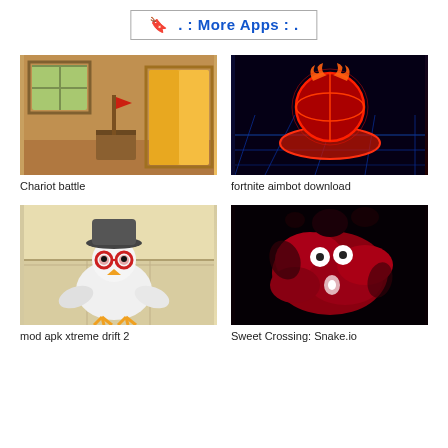🔖 . : More Apps : .
[Figure (illustration): Cartoon game scene showing a wooden door and room interior — Chariot battle app thumbnail]
Chariot battle
[Figure (illustration): Dark sci-fi glowing red sphere on a grid platform — fortnite aimbot download app thumbnail]
fortnite aimbot download
[Figure (illustration): 3D cartoon chicken character wearing hat and glasses — mod apk xtreme drift 2 app thumbnail]
mod apk xtreme drift 2
[Figure (illustration): Dark red blob creature with white eyes on black background — Sweet Crossing: Snake.io app thumbnail]
Sweet Crossing: Snake.io